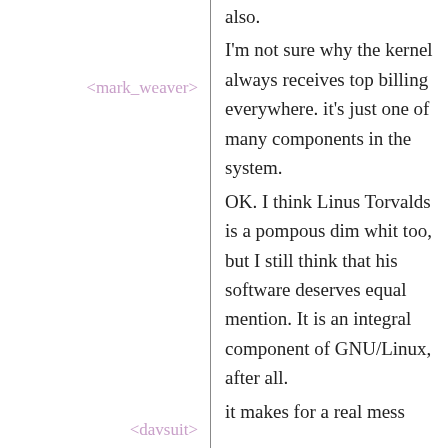also.
<mark_weaver>
I'm not sure why the kernel always receives top billing everywhere. it's just one of many components in the system.
<fchmmr>
OK. I think Linus Torvalds is a pompous dim whit too, but I still think that his software deserves equal mention. It is an integral component of GNU/Linux, after all.
<davsuit>
it makes for a real mess